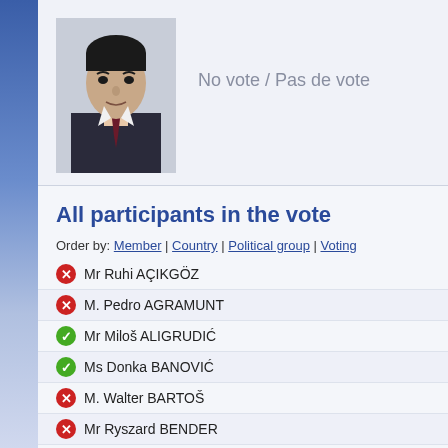[Figure (photo): Portrait photo of a man in dark suit and tie]
No vote / Pas de vote
All participants in the vote
Order by: Member | Country | Political group | Voting
Mr Ruhi AÇIKGÖZ
M. Pedro AGRAMUNT
Mr Miloš ALIGRUDIĆ
Ms Donka BANOVIĆ
M. Walter BARTOŠ
Mr Ryszard BENDER
Mr József BERÉNYI
M. Laurent BÉTEILLE